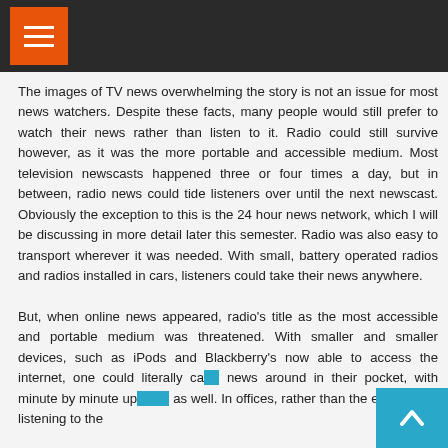[Figure (other): Dark header bar with orange hamburger menu button]
The images of TV news overwhelming the story is not an issue for most news watchers. Despite these facts, many people would still prefer to watch their news rather than listen to it. Radio could still survive however, as it was the more portable and accessible medium. Most television newscasts happened three or four times a day, but in between, radio news could tide listeners over until the next newscast. Obviously the exception to this is the 24 hour news network, which I will be discussing in more detail later this semester. Radio was also easy to transport wherever it was needed. With small, battery operated radios and radios installed in cars, listeners could take their news anywhere.

But, when online news appeared, radio's title as the most accessible and portable medium was threatened. With smaller and smaller devices, such as iPods and Blackberry's now able to access the internet, one could literally ca... news around in their pocket, with minute by minute up... as well. In offices, rather than the entire room listening to the